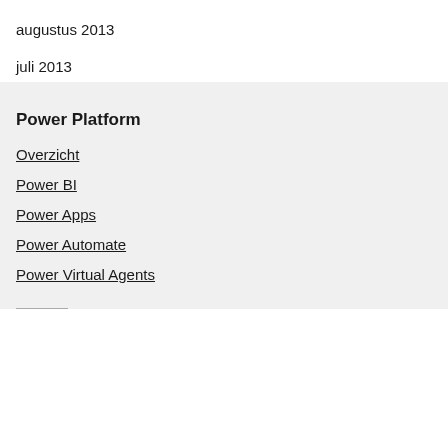augustus 2013
juli 2013
Power Platform
Overzicht
Power BI
Power Apps
Power Automate
Power Virtual Agents